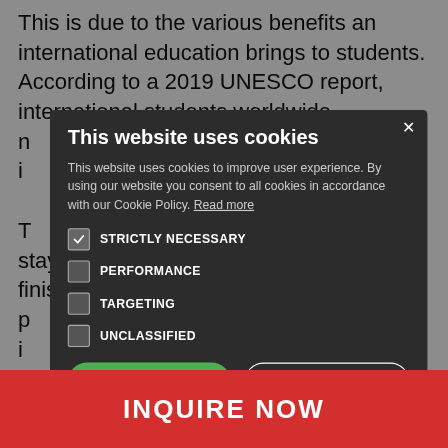This is due to the various benefits an international education brings to students. According to a 2019 UNESCO report, international students worldwide n... A huge i... lion. T... udents staying i... rs to finish a d... cused p... an i... n short-term p... or student e...
[Figure (screenshot): Cookie consent modal dialog with dark background. Title: 'This website uses cookies'. Body text: 'This website uses cookies to improve user experience. By using our website you consent to all cookies in accordance with our Cookie Policy. Read more'. Checkboxes: STRICTLY NECESSARY (checked), PERFORMANCE (unchecked), TARGETING (unchecked), UNCLASSIFIED (unchecked). Buttons: ACCEPT ALL (green), DECLINE ALL (outlined). Close X button top right.]
INQUIRE NOW